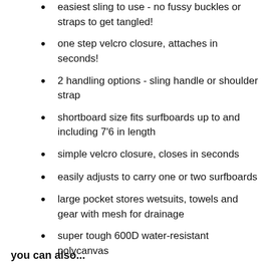easiest sling to use - no fussy buckles or straps to get tangled!
one step velcro closure, attaches in seconds!
2 handling options - sling handle or shoulder strap
shortboard size fits surfboards up to and including 7'6 in length
simple velcro closure, closes in seconds
easily adjusts to carry one or two surfboards
large pocket stores wetsuits, towels and gear with mesh for drainage
super tough 600D water-resistant polycanvas
you can also...